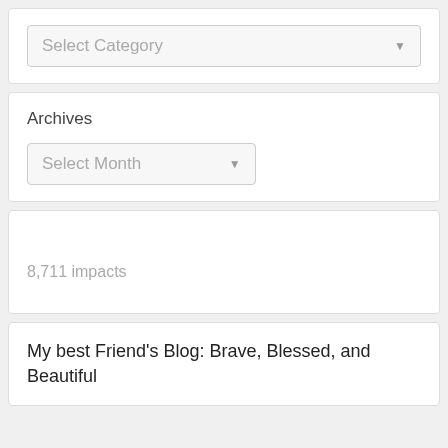Select Category
Archives
Select Month
8,711 impacts
My best Friend's Blog: Brave, Blessed, and Beautiful